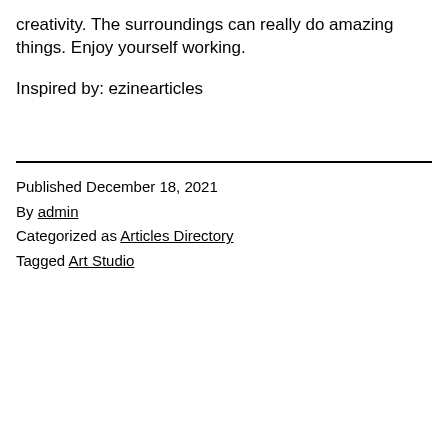creativity. The surroundings can really do amazing things. Enjoy yourself working.
Inspired by: ezinearticles
Published December 18, 2021
By admin
Categorized as Articles Directory
Tagged Art Studio